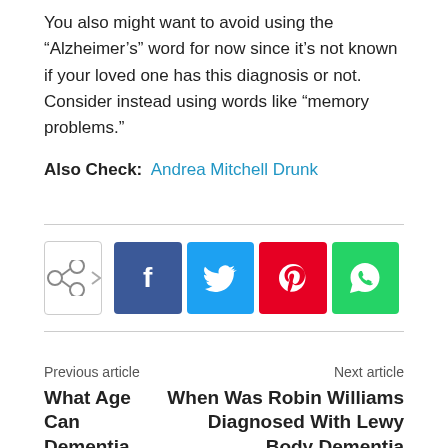You also might want to avoid using the “Alzheimer’s” word for now since it’s not known if your loved one has this diagnosis or not. Consider instead using words like “memory problems.”
Also Check: Andrea Mitchell Drunk
[Figure (infographic): Social share buttons: share icon box with arrow, Facebook (f), Twitter (bird), Pinterest (p), WhatsApp (phone handset)]
Previous article
What Age Can Dementia Start
Next article
When Was Robin Williams Diagnosed With Lewy Body Dementia